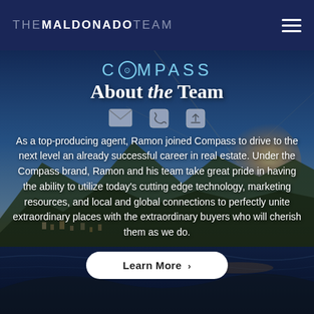THE MALDONADO TEAM
[Figure (photo): Aerial coastal landscape photo showing a town by a bay with mountains and dramatic sunset sky, used as background for the About the Team section]
COMPASS — About the Team
As a top-producing agent, Ramon joined Compass to drive to the next level an already successful career in real estate. Under the Compass brand, Ramon and his team take great pride in having the ability to utilize today's cutting edge technology, marketing resources, and local and global connections to perfectly unite extraordinary places with the extraordinary buyers who will cherish them as we do.
Learn More >